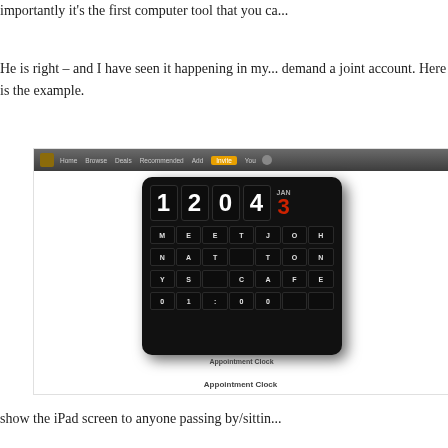importantly it's the first computer tool that you ca...
He is right – and I have seen it happening in my... demand a joint account. Here is the example.
[Figure (screenshot): Screenshot of a webpage showing an 'Appointment Clock' app. The browser navigation bar shows links: Home, Browse, Deals, Recommended, Add, Invite (highlighted in yellow), You. Below is a black flip-clock style display showing time 12:04, date JAN 3, and a message: MEET JOHN AT TONYS CAFE 01:00. Caption reads 'Appointment Clock'.]
show the iPad screen to anyone passing by/sittin...